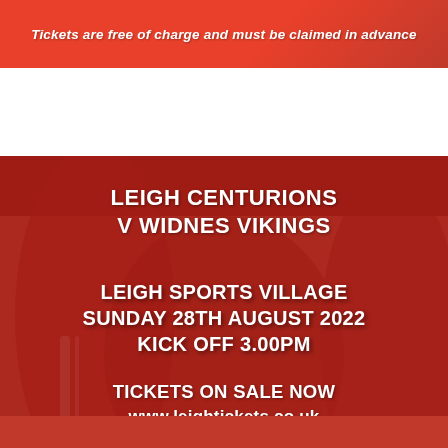[Figure (photo): Orange/red banner with italic bold white text: 'Tickets are free of charge and must be claimed in advance']
[Figure (infographic): Red-tinted photo of Leigh Centurions rugby players celebrating, overlaid with white bold text announcing a match: LEIGH CENTURIONS v WIDNES VIKINGS, LEIGH SPORTS VILLAGE, SUNDAY 28TH AUGUST 2022, KICK OFF 3.00PM, TICKETS ON SALE NOW, www.leightickets.co.uk, 01942 487888]
[Figure (photo): Bottom strip showing partial red banner (cropped)]